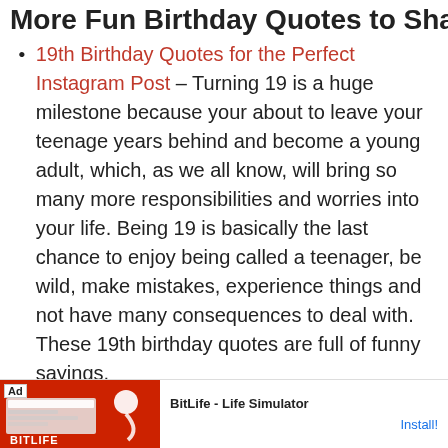More Fun Birthday Quotes to Share
19th Birthday Quotes for the Perfect Instagram Post – Turning 19 is a huge milestone because your about to leave your teenage years behind and become a young adult, which, as we all know, will bring so many more responsibilities and worries into your life. Being 19 is basically the last chance to enjoy being called a teenager, be wild, make mistakes, experience things and not have many consequences to deal with. These 19th birthday quotes are full of funny sayings, inspirational and more this birthday wishes!
[Figure (screenshot): Advertisement bar at bottom: BitLife - Life Simulator app ad with red background, sperm logo, and Install! button]